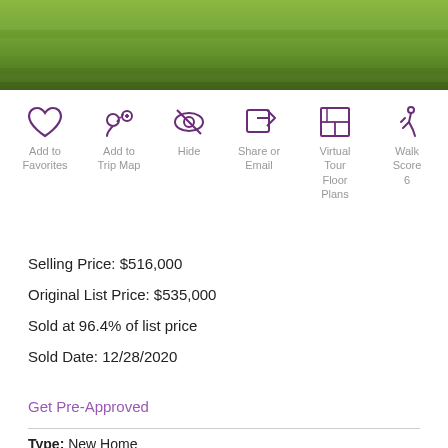[Figure (photo): Aerial or close-up photo of a green lawn with mowed grass stripes]
[Figure (infographic): Row of 6 action icons: Add to Favorites (heart), Add to Trip Map (map pin with plus), Hide (eye with slash), Share or Email (share arrow), Virtual Tour Floor Plans (floor plan icon), Walk Score 6 (pedestrian icon)]
Selling Price: $516,000
Original List Price: $535,000
Sold at 96.4% of list price
Sold Date: 12/28/2020
Get Pre-Approved
Type: New Home
Style: 2 Story